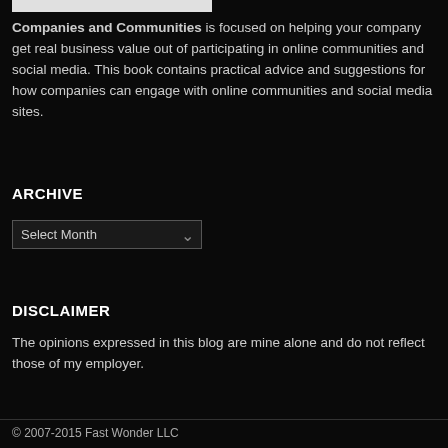[Figure (other): White rectangular bar at top of page]
Companies and Communities is focused on helping your company get real business value out of participating in online communities and social media. This book contains practical advice and suggestions for how companies can engage with online communities and social media sites.
ARCHIVE
Select Month
DISCLAIMER
The opinions expressed in this blog are mine alone and do not reflect those of my employer.
© 2007-2015 Fast Wonder LLC